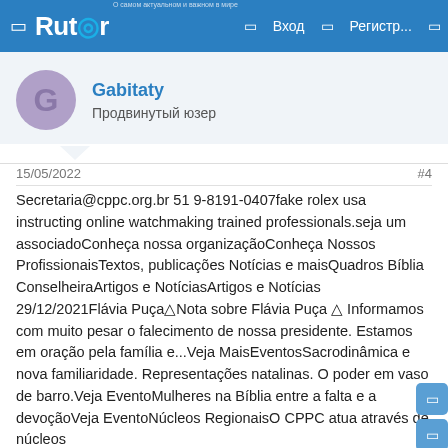Rutor | Вход | Регистр...
Gabitaty
Продвинутый юзер
15/05/2022
#4
Secretaria@cppc.org.br 51 9-8191-0407fake rolex usa instructing online watchmaking trained professionals.seja um associadoConheça nossa organizaçãoConheça Nossos ProfissionaisTextos, publicações Notícias e maisQuadros Bíblia ConselheiraArtigos e NotíciasArtigos e Notícias 29/12/2021Flávia Puça⚠Nota sobre Flávia Puça ⚠ Informamos com muito pesar o falecimento de nossa presidente. Estamos em oração pela família e...Veja MaisEventosSacrodinâmica e nova familiaridade. Representações natalinas. O poder em vaso de barro.Veja EventoMulheres na Bíblia entre a falta e a devoçãoVeja EventoNúcleos RegionaisO CPPC atua através de núcleos